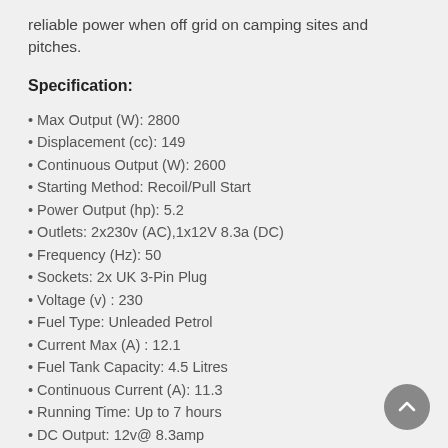reliable power when off grid on camping sites and pitches.
Specification:
Max Output (W): 2800
Displacement (cc): 149
Continuous Output (W): 2600
Starting Method: Recoil/Pull Start
Power Output (hp): 5.2
Outlets: 2x230v (AC),1x12V 8.3a (DC)
Frequency (Hz): 50
Sockets: 2x UK 3-Pin Plug
Voltage (v) : 230
Fuel Type: Unleaded Petrol
Current Max (A) : 12.1
Fuel Tank Capacity: 4.5 Litres
Continuous Current (A): 11.3
Running Time: Up to 7 hours
DC Output: 12v@ 8.3amp
Noise Level: 58dB @ 7m
Engine: Hyundai HX149, 5.2hp
Frame: 2mm Polypropylene, Plus OHV/Forced-Air Cooling